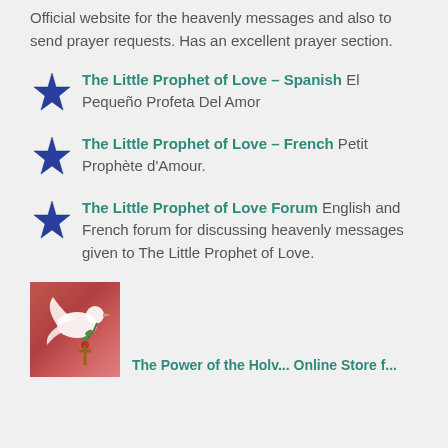Official website for the heavenly messages and also to send prayer requests. Has an excellent prayer section.
The Little Prophet of Love – Spanish El Pequeño Profeta Del Amor
The Little Prophet of Love – French Petit Prophète d'Amour.
The Little Prophet of Love Forum English and French forum for discussing heavenly messages given to The Little Prophet of Love.
[Figure (photo): Thumbnail image of a white dove with an olive branch and a cross, on a pink/red background]
The Power of the Holv... Online Store f...